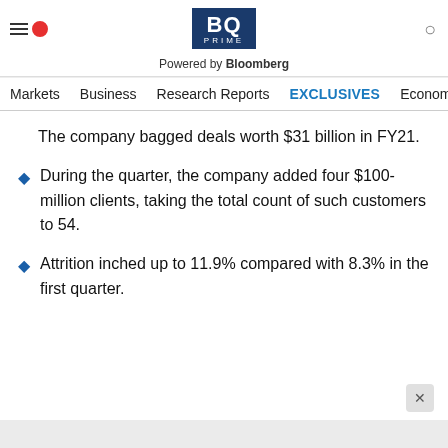BQ PRIME — Powered by Bloomberg — Navigation: Markets | Business | Research Reports | EXCLUSIVES | Economy
The company bagged deals worth $31 billion in FY21.
During the quarter, the company added four $100-million clients, taking the total count of such customers to 54.
Attrition inched up to 11.9% compared with 8.3% in the first quarter.